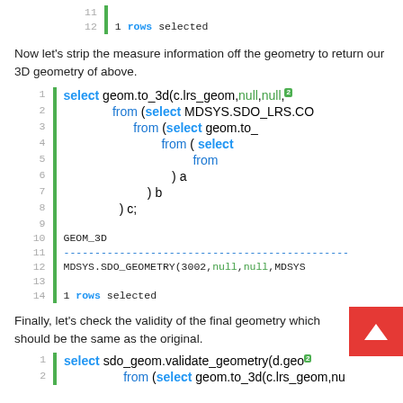[Figure (screenshot): Code block lines 11-12 showing '1 rows selected' output]
Now let's strip the measure information off the geometry to return our 3D geometry of above.
[Figure (screenshot): SQL code block lines 1-14 showing select geom.to_3d query with output GEOM_3D and MDSYS.SDO_GEOMETRY(3002,null,null,MDSYS and 1 rows selected]
Finally, let's check the validity of the final geometry which should be the same as the original.
[Figure (screenshot): SQL code block lines 1-2 showing select sdo_geom.validate_geometry(d.geo from (select geom.to_3d(c.lrs_geom,nu]